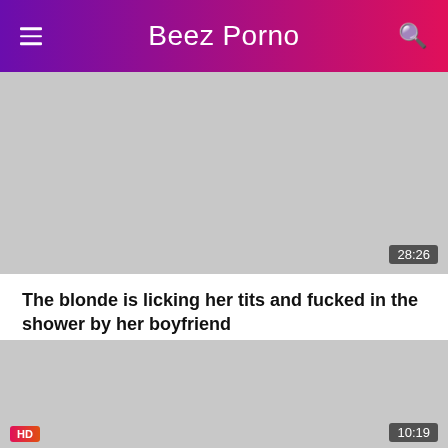Beez Porno
[Figure (photo): Video thumbnail placeholder, gray rectangle with duration badge showing 28:26]
The blonde is licking her tits and fucked in the shower by her boyfriend
The blonde is licked on her tits and fucked in the shower by her boyfriend who …
[Figure (photo): Video thumbnail placeholder at bottom, gray rectangle with HD badge and duration badge showing 10:19]